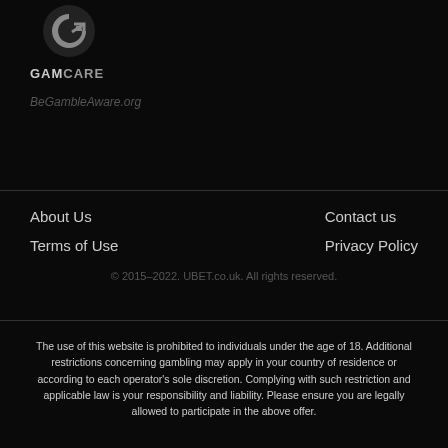[Figure (logo): GamCare logo — circular G with arrow icon above the text GAMCARE]
BeGambleAware.org
About Us
Contact us
Terms of Use
Privacy Policy
© 2015–2022. UBET.co.uk. All rights reserved.
The use of this website is prohibited to individuals under the age of 18. Additional restrictions concerning gambling may apply in your country of residence or according to each operator's sole discretion. Complying with such restriction and applicable law is your responsibility and liability. Please ensure you are legally allowed to participate in the above offer.